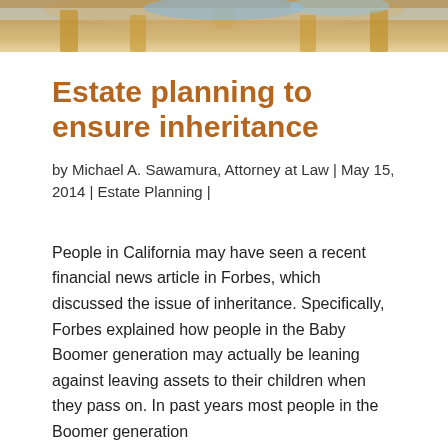[Figure (photo): Decorative architectural header image showing a building interior with columns and ornate ceiling in warm golden tones]
Estate planning to ensure inheritance
by Michael A. Sawamura, Attorney at Law | May 15, 2014 | Estate Planning |
People in California may have seen a recent financial news article in Forbes, which discussed the issue of inheritance. Specifically, Forbes explained how people in the Baby Boomer generation may actually be leaning against leaving assets to their children when they pass on. In past years most people in the Boomer generation